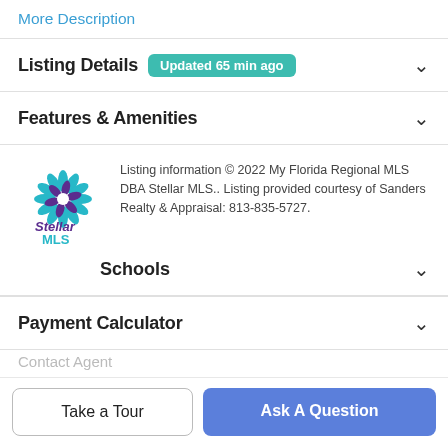More Description
Listing Details
Updated 65 min ago
Features & Amenities
Listing information © 2022 My Florida Regional MLS DBA Stellar MLS.. Listing provided courtesy of Sanders Realty & Appraisal: 813-835-5727.
Schools
Payment Calculator
Contact Agent
Take a Tour
Ask A Question